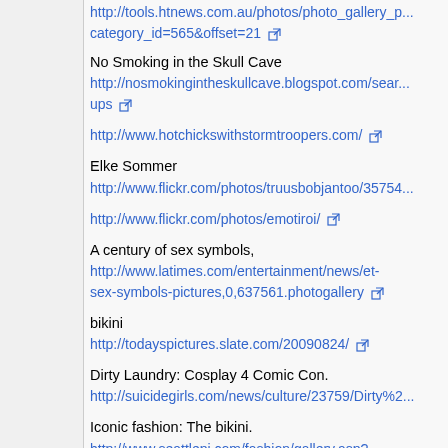http://tools.htnews.com.au/photos/photo_gallery_p... category_id=565&offset=21
No Smoking in the Skull Cave
http://nosmokingintheskullcave.blogspot.com/sear...ups
http://www.hotchickswithstormtroopers.com/
Elke Sommer
http://www.flickr.com/photos/truusbobjantoo/35754...
http://www.flickr.com/photos/emotiroi/
A century of sex symbols,
http://www.latimes.com/entertainment/news/et-sex-symbols-pictures,0,637561.photogallery
bikini
http://todayspictures.slate.com/20090824/
Dirty Laundry: Cosplay 4 Comic Con.
http://suicidegirls.com/news/culture/23759/Dirty%2...
Iconic fashion: The bikini.
http://www.seattlepi.com/fashion/gallery.asp?SubID=4946&page=1&gtitle=Iconic%20fashion%3...
Street Culture: Ink-N-Iron Festival.
http://www.latimes.com/theguide/summer/la-...